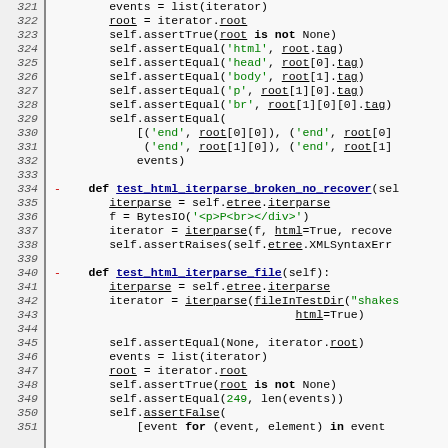[Figure (screenshot): Python source code snippet showing test methods for HTML iterparse functionality, lines 321-350, with syntax highlighting in monospace font. Line numbers on left, code on right with green strings, dark blue underlined function/variable names, and bold keywords.]